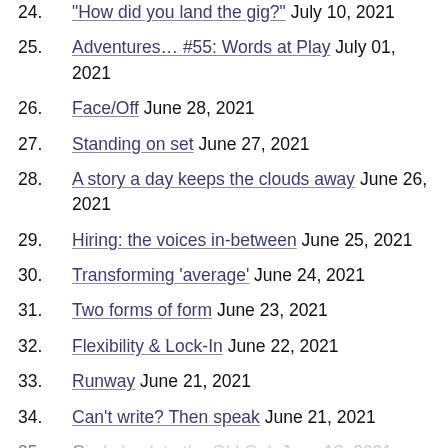24. "How did you land the gig?" July 10, 2021
25. Adventures… #55: Words at Play July 01, 2021
26. Face/Off June 28, 2021
27. Standing on set June 27, 2021
28. A story a day keeps the clouds away June 26, 2021
29. Hiring: the voices in-between June 25, 2021
30. Transforming 'average' June 24, 2021
31. Two forms of form June 23, 2021
32. Flexibility & Lock-In June 22, 2021
33. Runway June 21, 2021
34. Can't write? Then speak June 21, 2021
35. (partially visible) June 18, 2021